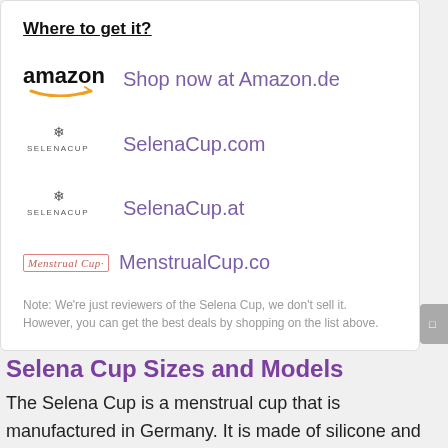Where to get it?
Shop now at Amazon.de
SelenaCup.com
SelenaCup.at
MenstrualCup.co
Note: We're just reviewers of the Selena Cup, we don't sell it. However, you can get the best deals by shopping on the list above.
Selena Cup Sizes and Models
The Selena Cup is a menstrual cup that is manufactured in Germany. It is made of silicone and comes in 6 different sizes/models: